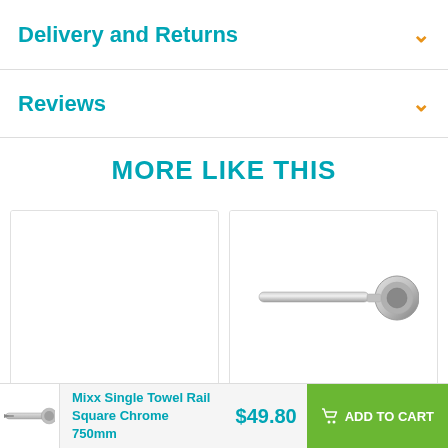Delivery and Returns
Reviews
MORE LIKE THIS
[Figure (photo): Product card with empty image area, label: Mixx Double Towel Rail Square]
[Figure (photo): Product card showing a chrome single towel rail mounted on a round base, label: Brasshards Mixx Single Towel]
Mixx Single Towel Rail Square Chrome 750mm
$49.80
ADD TO CART